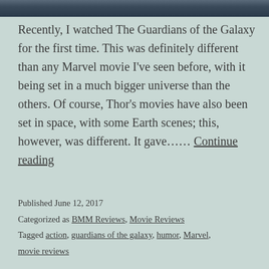[Figure (photo): Top banner image strip showing partial view of Guardians of the Galaxy characters]
Recently, I watched The Guardians of the Galaxy for the first time. This was definitely different than any Marvel movie I've seen before, with it being set in a much bigger universe than the others. Of course, Thor's movies have also been set in space, with some Earth scenes; this, however, was different. It gave…… Continue reading
Published June 12, 2017
Categorized as BMM Reviews, Movie Reviews
Tagged action, guardians of the galaxy, humor, Marvel, movie reviews